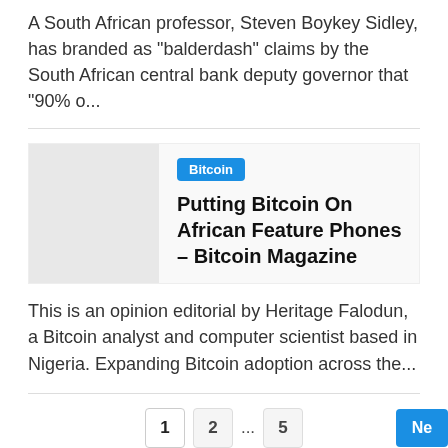A South African professor, Steven Boykey Sidley, has branded as “balderdash” claims by the South African central bank deputy governor that “90% o…
Bitcoin
Putting Bitcoin On African Feature Phones – Bitcoin Magazine
This is an opinion editorial by Heritage Falodun, a Bitcoin analyst and computer scientist based in Nigeria. Expanding Bitcoin adoption across the…
1  2  ...  5  Next